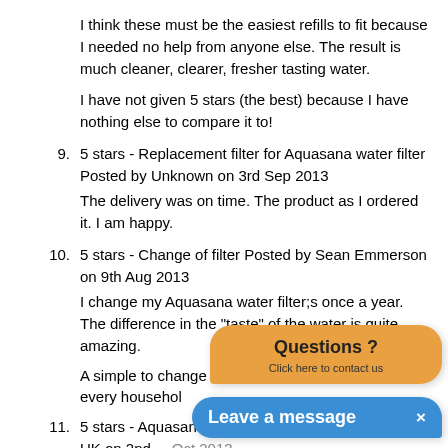I think these must be the easiest refills to fit because I needed no help from anyone else. The result is much cleaner, clearer, fresher tasting water.
I have not given 5 stars (the best) because I have nothing else to compare it to!
9. 5 stars - Replacement filter for Aquasana water filter Posted by Unknown on 3rd Sep 2013
The delivery was on time. The product as I ordered it. I am happy.
10. 5 stars - Change of filter Posted by Sean Emmerson on 9th Aug 2013
I change my Aquasana water filter;s once a year. The difference in the "taste" of the water is quite amazing.
A simple to change and use … recommend every househol…
11. 5 stars - Aquasana counter … Lynne Goodwin UK on 2nd Oct 2013
[Figure (other): Orange rounded chat bubble with text 'Questions ? Click here to contact us']
[Figure (other): Blue rounded chat bubble with text 'Leave a message' and an X close button]